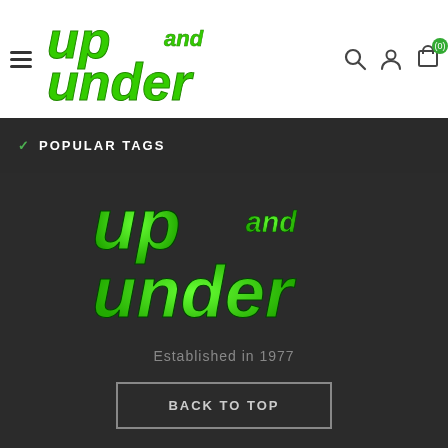[Figure (logo): Up and Under sports store header logo in green italic font on white background with hamburger menu and icons]
POPULAR TAGS
[Figure (logo): Large Up and Under logo in green on dark background]
Established in 1977
BACK TO TOP